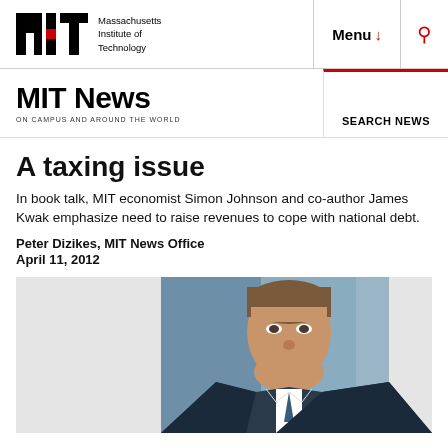[Figure (logo): MIT logo (black letters MIT with red bar) and text 'Massachusetts Institute of Technology']
Menu ↓   🔍
MIT News ON CAMPUS AND AROUND THE WORLD
SEARCH NEWS
A taxing issue
In book talk, MIT economist Simon Johnson and co-author James Kwak emphasize need to raise revenues to cope with national debt.
Peter Dizikes, MIT News Office
April 11, 2012
[Figure (photo): Photo of a man (Simon Johnson) speaking, wearing a suit, against a blue/grey background]